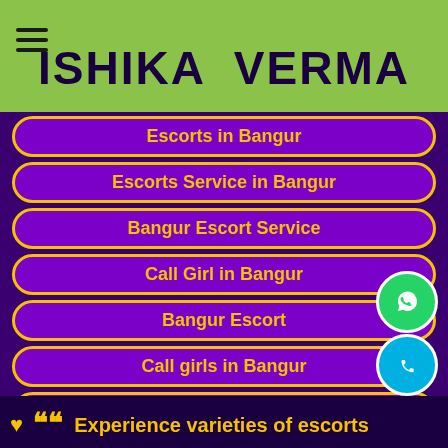ISHIKA VERMA
Escorts in Bangur
Escorts Service in Bangur
Bangur Escort Service
Call Girl in Bangur
Bangur Escort
Call girls in Bangur
Bangur independent escorts
Bangur escorts girl
Bangur escorts agency
❤ ❝❝  Experience varieties of escorts